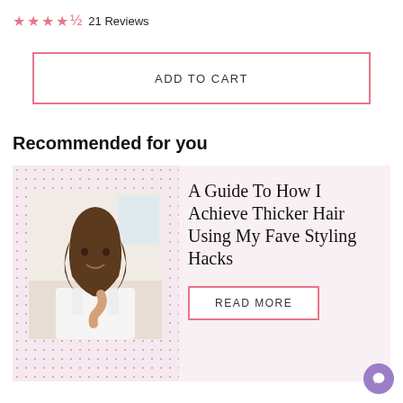★★★★½ 21 Reviews
ADD TO CART
Recommended for you
[Figure (photo): Woman holding a hair styling brush tool, photo inside a card with dotted background pattern]
A Guide To How I Achieve Thicker Hair Using My Fave Styling Hacks
READ MORE